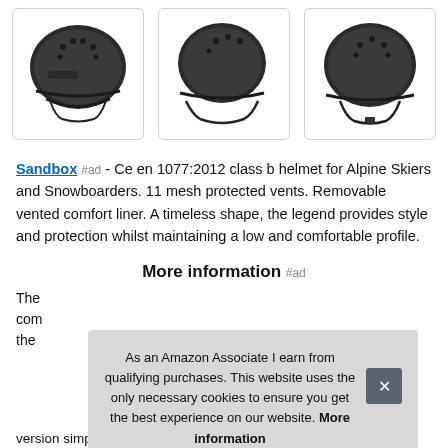[Figure (photo): Three views of a dark grey/black skateboard-style helmet: front-left view, side view, and back-right view. Each in a rounded border box.]
Sandbox #ad - Ce en 1077:2012 class b helmet for Alpine Skiers and Snowboarders. 11 mesh protected vents. Removable vented comfort liner. A timeless shape, the legend provides style and protection whilst maintaining a low and comfortable profile.
More information #ad
The com the
version simplifies our design by removing the ear pads making
As an Amazon Associate I earn from qualifying purchases. This website uses the only necessary cookies to ensure you get the best experience on our website. More information